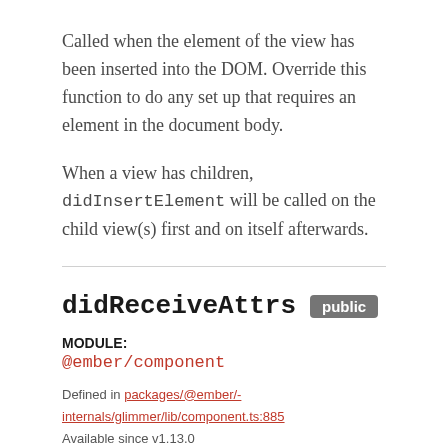Called when the element of the view has been inserted into the DOM. Override this function to do any set up that requires an element in the document body.
When a view has children, didInsertElement will be called on the child view(s) first and on itself afterwards.
didReceiveAttrs public
MODULE:
@ember/component
Defined in packages/@ember/-internals/glimmer/lib/component.ts:885
Available since v1.13.0
Called when the attributes passed into the component have been updated. Called both during the initial render of a container and during a rerender. Can be used in place